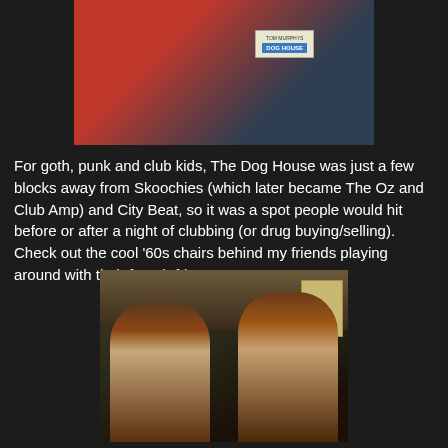[Figure (photo): Partial photo showing a person holding or near a 'Dog House' book/pamphlet, with an orange/red jacket visible.]
For goth, punk and club kids, The Dog House was just a few blocks away from Skoochies (which later became The Oz and Club Amp) and City Beat, so it was a spot people would hit before or after a night of clubbing (or drug buying/selling). Check out the cool '60s chairs behind my friends playing around with their french fries:
[Figure (photo): Two young people with reddish-brown curly hair facing each other closely, appearing to share or play with a french fry between their mouths, taken indoors in low light.]